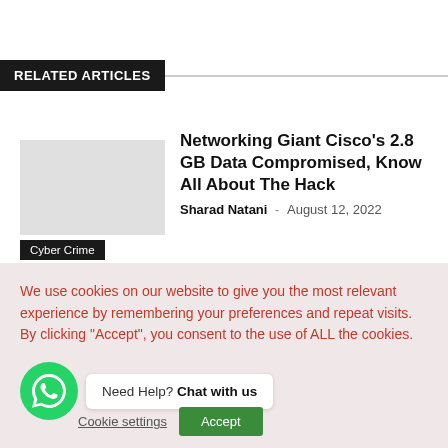RELATED ARTICLES
Networking Giant Cisco's 2.8 GB Data Compromised, Know All About The Hack
Sharad Natani - August 12, 2022
Cyber Crime
Chinese Investor-Backed Policybazaar
We use cookies on our website to give you the most relevant experience by remembering your preferences and repeat visits. By clicking "Accept", you consent to the use of ALL the cookies.
Need Help? Chat with us
Cookie settings  Accept